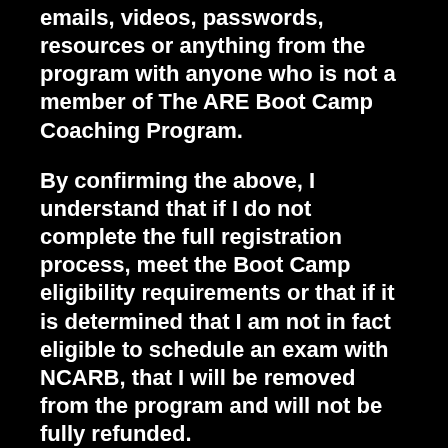emails, videos, passwords, resources or anything from the program with anyone who is not a member of The ARE Boot Camp Coaching Program.
By confirming the above, I understand that if I do not complete the full registration process, meet the Boot Camp eligibility requirements or that if it is determined that I am not in fact eligible to schedule an exam with NCARB, that I will be removed from the program and will not be fully refunded.
Please make a payment below to begin the ARE Boot Camp Registration Process.